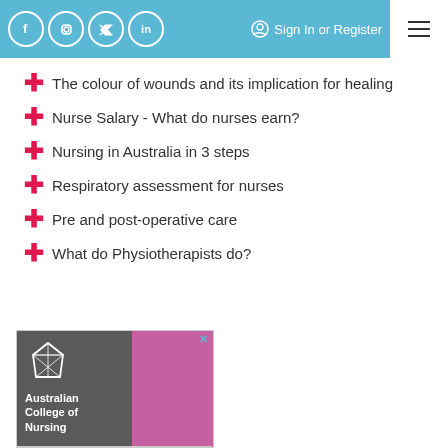Social icons: Facebook, Instagram, Twitter, LinkedIn | Sign In or Register | Menu
The colour of wounds and its implication for healing
Nurse Salary - What do nurses earn?
Nursing in Australia in 3 steps
Respiratory assessment for nurses
Pre and post-operative care
What do Physiotherapists do?
[Figure (illustration): Advertisement for Australian College of Nursing showing logo, dark grey and pink sections, and a nurse looking at medical equipment]